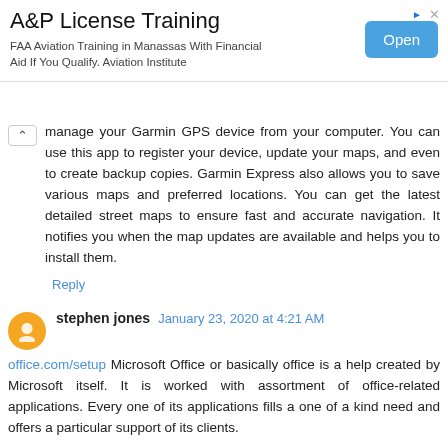[Figure (other): Advertisement banner for A&P License Training. Title: 'A&P License Training'. Subtitle: 'FAA Aviation Training in Manassas With Financial Aid If You Qualify. Aviation Institute'. Button: 'Open'.]
manage your Garmin GPS device from your computer. You can use this app to register your device, update your maps, and even to create backup copies. Garmin Express also allows you to save various maps and preferred locations. You can get the latest detailed street maps to ensure fast and accurate navigation. It notifies you when the map updates are available and helps you to install them.
Reply
stephen jones  January 23, 2020 at 4:21 AM
office.com/setup Microsoft Office or basically office is a help created by Microsoft itself. It is worked with assortment of office-related applications. Every one of its applications fills a one of a kind need and offers a particular support of its clients.